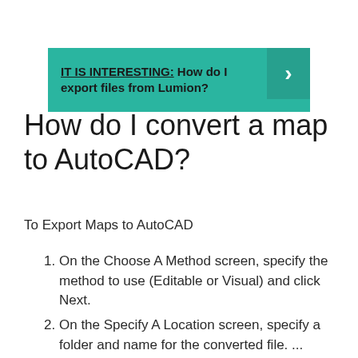[Figure (infographic): Teal banner with text 'IT IS INTERESTING: How do I export files from Lumion?' and a right-pointing arrow on the right side]
How do I convert a map to AutoCAD?
To Export Maps to AutoCAD
On the Choose A Method screen, specify the method to use (Editable or Visual) and click Next.
On the Specify A Location screen, specify a folder and name for the converted file. ...
On the Set Conversion Options screen,